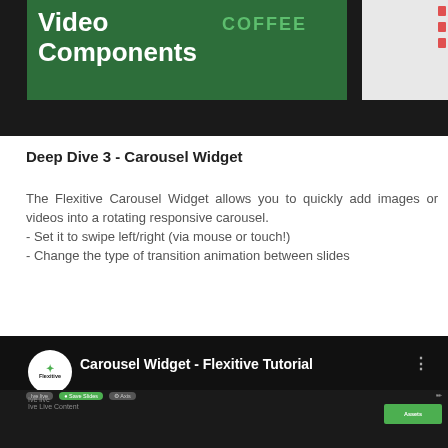[Figure (screenshot): Video thumbnail showing 'Video Components' title text in white on dark/green background with a software UI panel on the right side]
Deep Dive 3 - Carousel Widget
The Flexitive Carousel Widget allows you to quickly add images or videos into a rotating responsive carousel.
- Set it to swipe left/right (via mouse or touch!)
- Change the type of transition animation between slides
[Figure (screenshot): YouTube-style video thumbnail for 'Carousel Widget - Flexitive Tutorial' with Flexitive logo circle, white title text on dark background, and software interface below]